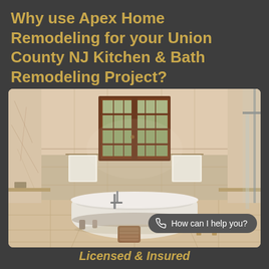Why use Apex Home Remodeling for your Union County NJ Kitchen & Bath Remodeling Project?
[Figure (photo): Elegant bathroom interior with a freestanding clawfoot bathtub in the center, marble tile walls, a brown-framed French window with multiple panes in the background, white towels on towel bars on both sides, a small wooden stool to the right, a glass shower enclosure on the right edge, and decorative wicker basket near the tub. Warm neutral tones throughout.]
How can I help you?
Licensed & Insured